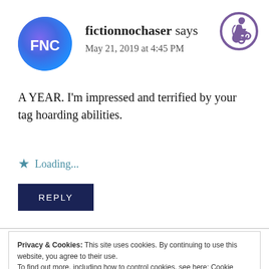[Figure (logo): Circular avatar with gradient blue-purple background and 'FNC' text in white]
[Figure (logo): Purple circle accessibility icon (wheelchair user) in top right corner]
fictionnochaser says
May 21, 2019 at 4:45 PM
A YEAR. I'm impressed and terrified by your tag hoarding abilities.
★ Loading...
REPLY
Privacy & Cookies: This site uses cookies. By continuing to use this website, you agree to their use.
To find out more, including how to control cookies, see here: Cookie Policy
Close and accept